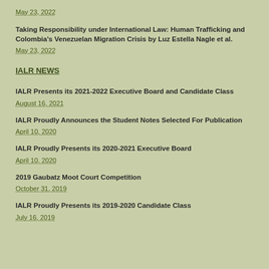Taking Responsibility under International Law: Human Trafficking and Colombia's Venezuelan Migration Crisis by Luz Estella Nagle et al.
May 23, 2022
IALR NEWS
IALR Presents its 2021-2022 Executive Board and Candidate Class
August 16, 2021
IALR Proudly Announces the Student Notes Selected For Publication
April 10, 2020
IALR Proudly Presents its 2020-2021 Executive Board
April 10, 2020
2019 Gaubatz Moot Court Competition
October 31, 2019
IALR Proudly Presents its 2019-2020 Candidate Class
July 16, 2019